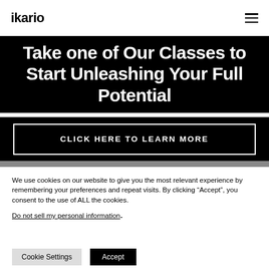ikario
Take one of Our Classes to Start Unleashing Your Full Potential
CLICK HERE TO LEARN MORE
We use cookies on our website to give you the most relevant experience by remembering your preferences and repeat visits. By clicking “Accept”, you consent to the use of ALL the cookies.
Do not sell my personal information.
Cookie Settings  Accept